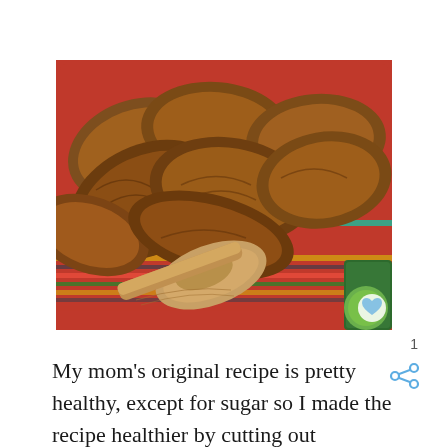[Figure (photo): Photo of sliced toasted bread arranged in a red baking dish with a wooden spoon, placed on a striped colorful cloth. Green kitchen items visible at bottom right corner.]
My mom's original recipe is pretty healthy, except for sugar so I made the recipe healthier by cutting out